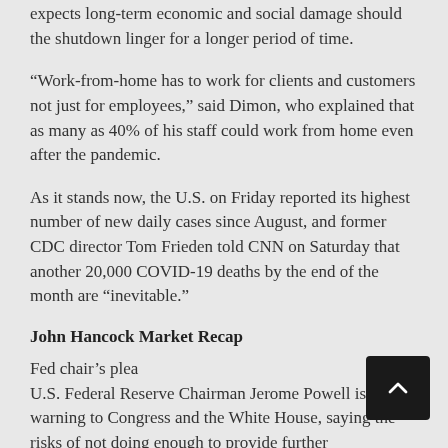expects long-term economic and social damage should the shutdown linger for a longer period of time.
“Work-from-home has to work for clients and customers not just for employees,” said Dimon, who explained that as many as 40% of his staff could work from home even after the pandemic.
As it stands now, the U.S. on Friday reported its highest number of new daily cases since August, and former CDC director Tom Frieden told CNN on Saturday that another 20,000 COVID-19 deaths by the end of the month are “inevitable.”
John Hancock Market Recap
Fed chair’s plea
U.S. Federal Reserve Chairman Jerome Powell issued a warning to Congress and the White House, saying the risks of not doing enough to provide further coronavirus-related economic relief are greater than the risks of doing so much